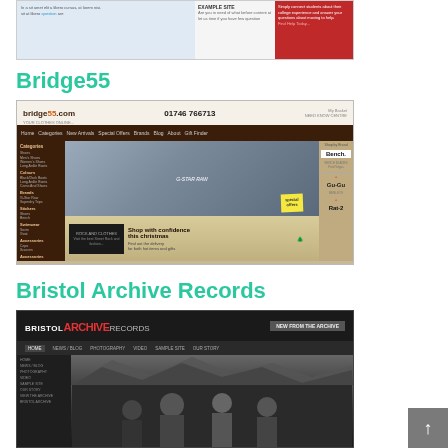[Figure (screenshot): Partial screenshot of a website at the top of the page, cut off at top]
Bridge55
[Figure (screenshot): Screenshot of Bridge55 website (bridge55.com) showing an e-commerce clothing site with a model in denim, navigation bar, sidebar categories, and brand logos including Bench, Fred Peya, Gu-Gu, and Rat-2]
Bristol Archive Records
[Figure (screenshot): Screenshot of Bristol Archive Records website showing a black and white photo of a band, with dark theme navigation and sidebar]